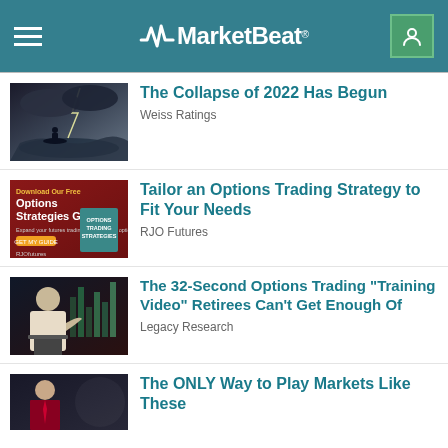MarketBeat
[Figure (photo): Advertisement thumbnail: stormy sea with person on boat]
The Collapse of 2022 Has Begun
Weiss Ratings
[Figure (photo): Advertisement thumbnail: Options Strategies Guide red banner]
Tailor an Options Trading Strategy to Fit Your Needs
RJO Futures
[Figure (photo): Advertisement thumbnail: man speaking at podium with trading charts background]
The 32-Second Options Trading "Training Video" Retirees Can't Get Enough Of
Legacy Research
[Figure (photo): Advertisement thumbnail: man in suit with market background]
The ONLY Way to Play Markets Like These